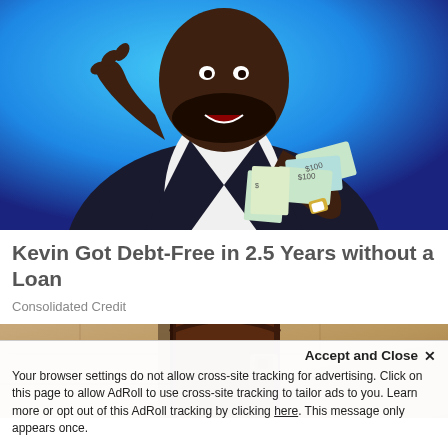[Figure (photo): Man in dark suit jacket and white shirt holding US dollar bills, smiling/excited expression, blue background]
Kevin Got Debt-Free in 2.5 Years without a Loan
Consolidated Credit
[Figure (photo): Close-up of an old rusty door hinge or lock on a stone/sand-colored wall]
Accept and Close ✕
Your browser settings do not allow cross-site tracking for advertising. Click on this page to allow AdRoll to use cross-site tracking to tailor ads to you. Learn more or opt out of this AdRoll tracking by clicking here. This message only appears once.